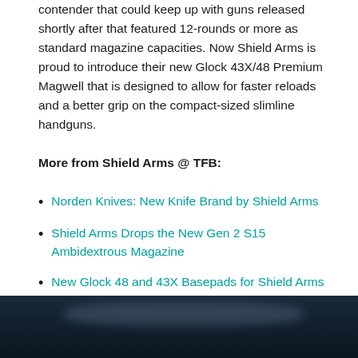contender that could keep up with guns released shortly after that featured 12-rounds or more as standard magazine capacities. Now Shield Arms is proud to introduce their new Glock 43X/48 Premium Magwell that is designed to allow for faster reloads and a better grip on the compact-sized slimline handguns.
More from Shield Arms @ TFB:
Norden Knives: New Knife Brand by Shield Arms
Shield Arms Drops the New Gen 2 S15 Ambidextrous Magazine
New Glock 48 and 43X Basepads for Shield Arms Magazines from Taran Tactical
[Figure (photo): Dark photograph of a firearm/handgun, partially visible at the bottom of the page, showing a dark metallic surface with a light reflection highlight.]